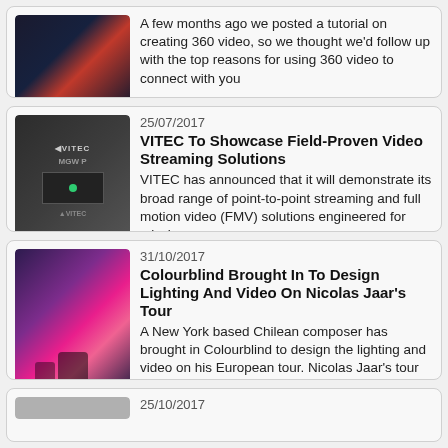[Figure (photo): Racing car image in dark tones]
A few months ago we posted a tutorial on creating 360 video, so we thought we'd follow up with the top reasons for using 360 video to connect with you
25/07/2017
[Figure (photo): VITEC MGW P device photo]
VITEC To Showcase Field-Proven Video Streaming Solutions
VITEC has announced that it will demonstrate its broad range of point-to-point streaming and full motion video (FMV) solutions engineered for mission-
31/10/2017
[Figure (photo): Concert stage with purple and pink lighting]
Colourblind Brought In To Design Lighting And Video On Nicolas Jaar's Tour
A New York based Chilean composer has brought in Colourblind to design the lighting and video on his European tour. Nicolas Jaar's tour made its way t
25/10/2017